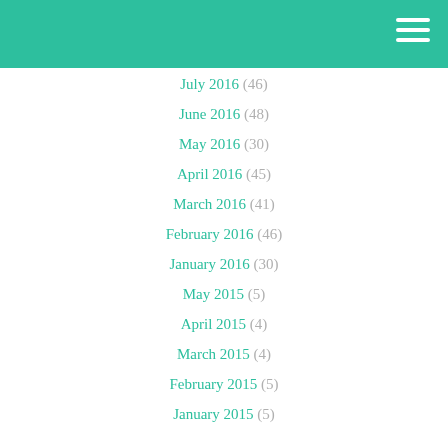July 2016 (46)
June 2016 (48)
May 2016 (30)
April 2016 (45)
March 2016 (41)
February 2016 (46)
January 2016 (30)
May 2015 (5)
April 2015 (4)
March 2015 (4)
February 2015 (5)
January 2015 (5)
December 2014 (3)
November 2014 (4)
October 2014 (5)
September 2014 (4)
August 2014 (5)